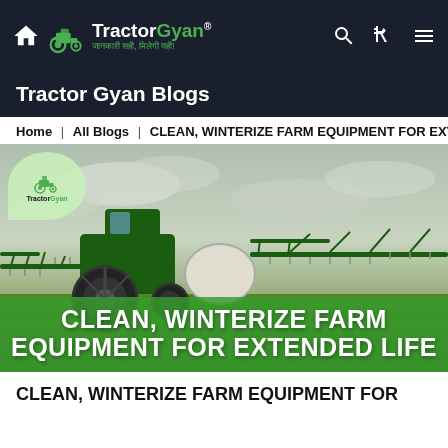TractorGyan® — जानकारी सही, मिलेगी यहीं!
Tractor Gyan Blogs
Home | All Blogs | CLEAN, WINTERIZE FARM EQUIPMENT FOR EXTENDED...
[Figure (photo): Green John Deere sprayer tractor working in a green farm field under cloudy sky, with TractorGyan logo overlay in top-left corner, and green banner overlay at bottom with text: CLEAN, WINTERIZE FARM EQUIPMENT FOR EXTENDED LIFE]
CLEAN, WINTERIZE FARM EQUIPMENT FOR EXTENDED LIFE